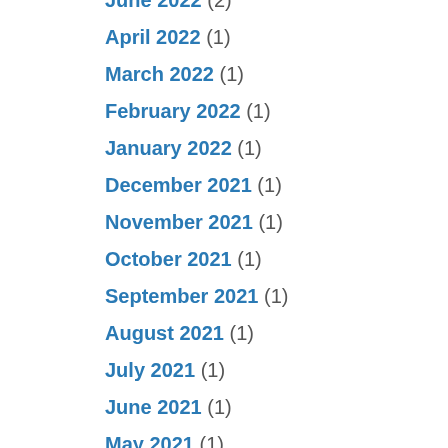June 2022 (2)
April 2022 (1)
March 2022 (1)
February 2022 (1)
January 2022 (1)
December 2021 (1)
November 2021 (1)
October 2021 (1)
September 2021 (1)
August 2021 (1)
July 2021 (1)
June 2021 (1)
May 2021 (1)
April 2021 (2)
March 2021 (2)
February 2021 (2)